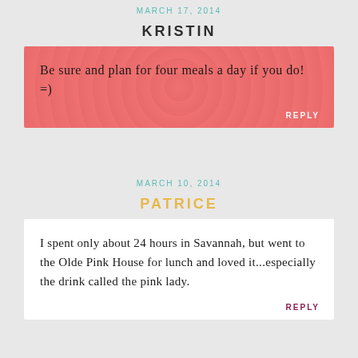MARCH 17, 2014
KRISTIN
Be sure and plan for four meals a day if you do! =)
REPLY
MARCH 10, 2014
PATRICE
I spent only about 24 hours in Savannah, but went to the Olde Pink House for lunch and loved it...especially the drink called the pink lady.
REPLY